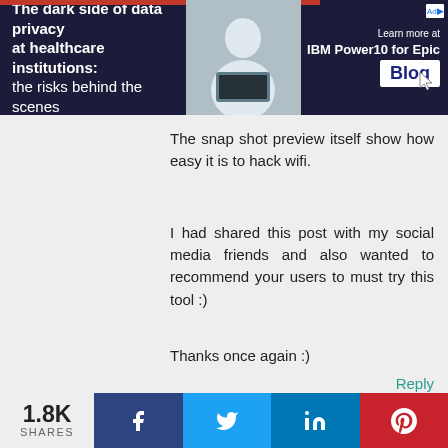[Figure (screenshot): Advertisement banner: 'The dark side of data privacy at healthcare institutions: the risks behind the scenes' with IBM Power10 for Epic Blog branding]
The snap shot preview itself show how easy it is to hack wifi.
I had shared this post with my social media friends and also wanted to recommend your users to must try this tool :)
Thanks once again :)
Reply
[Figure (logo): Blogger orange circle logo icon]
Piyush Golani
JANUARY 23, 2016 5:56 PM
Hello Friend,
1.8K SHARES | Facebook | Twitter | LinkedIn | Pinterest